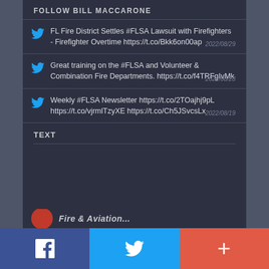FOLLOW BILL MACCARONE
FL Fire District Settles #FLSA Lawsuit with Firefighters - Firefighter Overtime https://t.co/Bkk6on00ap 2022/08/29
Great training on the #FLSA and Volunteer & Combination Fire Departments. https://t.co/f4TRFgIvMk 2022/08/28
Weekly #FLSA Newsletter https://t.co/2TOajhj9pL https://t.co/vjrmlTzyXE https://t.co/Ch5JSvcsLx 2022/08/19
TEXT